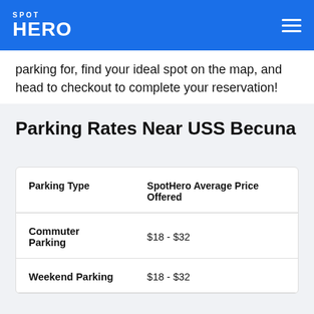SPOT HERO
parking for, find your ideal spot on the map, and head to checkout to complete your reservation!
Parking Rates Near USS Becuna
| Parking Type | SpotHero Average Price Offered |
| --- | --- |
| Commuter Parking | $18 - $32 |
| Weekend Parking | $18 - $32 |